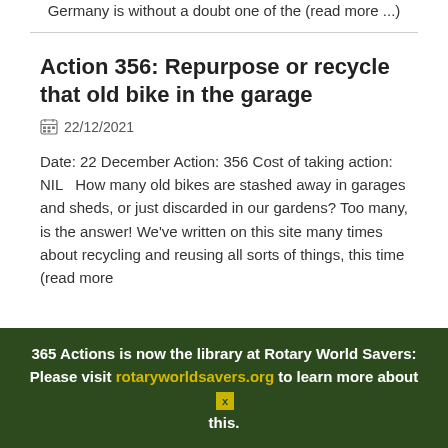Germany is without a doubt one of the (read more ...)
Action 356: Repurpose or recycle that old bike in the garage
22/12/2021
Date: 22 December Action: 356 Cost of taking action: NIL   How many old bikes are stashed away in garages and sheds, or just discarded in our gardens? Too many, is the answer! We've written on this site many times about recycling and reusing all sorts of things, this time (read more
365 Actions is now the library at Rotary World Savers: Please visit rotaryworldsavers.org to learn more about this.